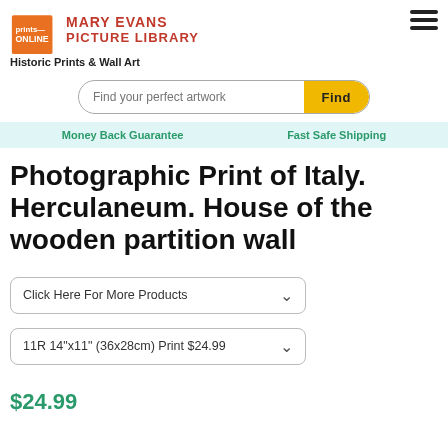[Figure (logo): Prints Online logo with orange square and Mary Evans Picture Library text in red]
Historic Prints & Wall Art
[Figure (screenshot): Search bar with placeholder text 'Find your perfect artwork' and yellow 'Find' button]
Money Back Guarantee    Fast Safe Shipping
Photographic Print of Italy. Herculaneum. House of the wooden partition wall
Click Here For More Products
11R 14"x11" (36x28cm) Print $24.99
$24.99